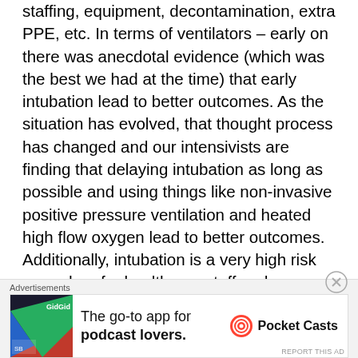staffing, equipment, decontamination, extra PPE, etc. In terms of ventilators – early on there was anecdotal evidence (which was the best we had at the time) that early intubation lead to better outcomes. As the situation has evolved, that thought process has changed and our intensivists are finding that delaying intubation as long as possible and using things like non-invasive positive pressure ventilation and heated high flow oxygen lead to better outcomes. Additionally, intubation is a very high risk procedure for healthcare staff and so we really only do this when
[Figure (other): Advertisement banner for Pocket Casts app. Shows logo image on left, text 'The go-to app for podcast lovers.' in center, and Pocket Casts logo on right. Labeled 'Advertisements' above.]